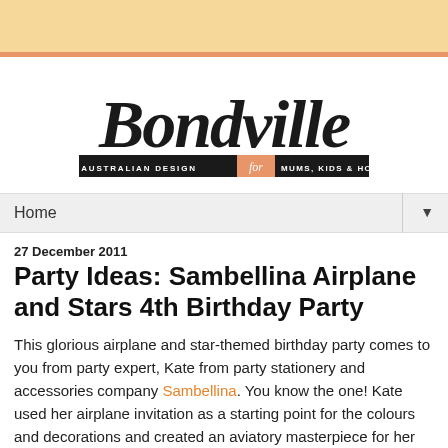[Figure (logo): Bondville logo with script text 'Bondville' and subtitle banner 'AUSTRALIAN DESIGN for MUMS, KIDS & HOME']
Home ▼
27 December 2011
Party Ideas: Sambellina Airplane and Stars 4th Birthday Party
This glorious airplane and star-themed birthday party comes to you from party expert, Kate from party stationery and accessories company Sambellina. You know the one! Kate used her airplane invitation as a starting point for the colours and decorations and created an aviatory masterpiece for her son Christian's 4th birthday party. Enjoy!